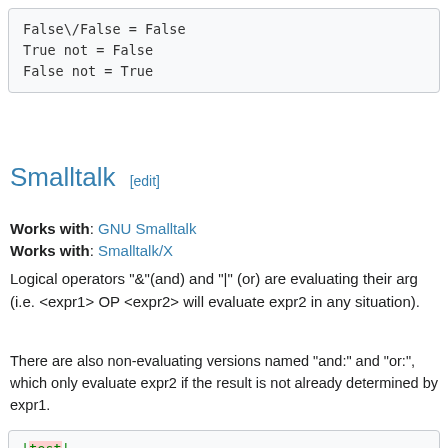False\/False = False
True not = False
False not = True
Smalltalk [edit]
Works with: GNU Smalltalk
Works with: Smalltalk/X
Logical operators "&"(and) and "|" (or) are evaluating their arg (i.e. <expr1> OP <expr2> will evaluate expr2 in any situation).
There are also non-evaluating versions named "and:" and "or:", which only evaluate expr2 if the result is not already determined by expr1.
|test|
test := [ :a :b |
    ('%1 %2 %3 = %4' % { a. 'and'. b. (a & b) }
    ('%1 %2 %3 = %4' % { a. 'or'. b. (a | b) })
    ('%1 %2 = %3' % {'not'. a. (a not) }) disp
].